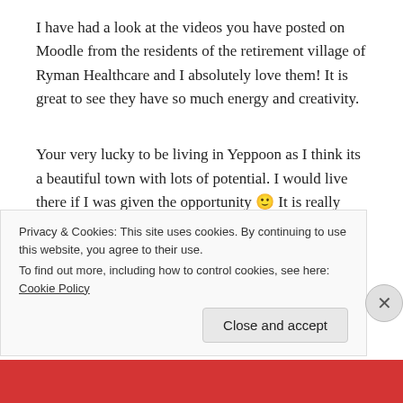I have had a look at the videos you have posted on Moodle from the residents of the retirement village of Ryman Healthcare and I absolutely love them! It is great to see they have so much energy and creativity.
Your very lucky to be living in Yeppoon as I think its a beautiful town with lots of potential. I would live there if I was given the opportunity 🙂 It is really good to see you have put so much
Privacy & Cookies: This site uses cookies. By continuing to use this website, you agree to their use.
To find out more, including how to control cookies, see here: Cookie Policy